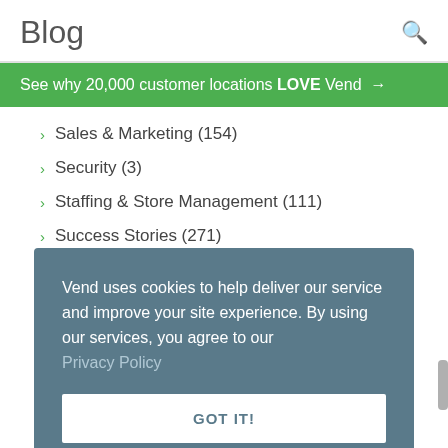Blog
See why 20,000 customer locations LOVE Vend →
Sales & Marketing (154)
Security (3)
Staffing & Store Management (111)
Success Stories (271)
Vend uses cookies to help deliver our service and improve your site experience. By using our services, you agree to our Privacy Policy
GOT IT!
Inventory Management Guide